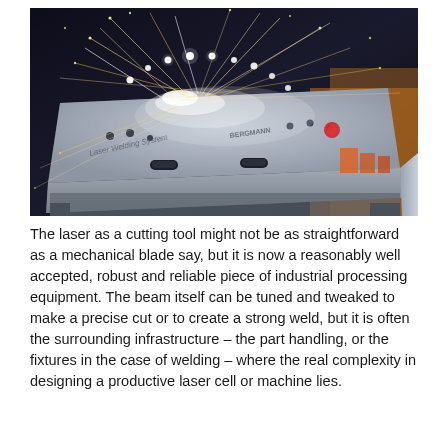[Figure (photo): A laser welding system table with sparks flying above it in a dark industrial environment. The equipment is a flat metal platform labeled 'Laser Welding System' and 'BERGMANN' with handles and fixture holes. Bright arc-like sparks illuminate the scene.]
The laser as a cutting tool might not be as straightforward as a mechanical blade say, but it is now a reasonably well accepted, robust and reliable piece of industrial processing equipment. The beam itself can be tuned and tweaked to make a precise cut or to create a strong weld, but it is often the surrounding infrastructure – the part handling, or the fixtures in the case of welding – where the real complexity in designing a productive laser cell or machine lies.